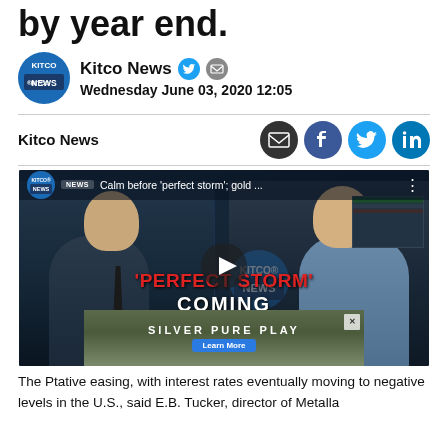by year end.
Kitco News  Wednesday June 03, 2020 12:05
Kitco News
[Figure (screenshot): Video thumbnail showing two people in a split-screen interview. Title overlay reads 'Calm before 'perfect storm'; gold ...' with Kitco News branding. Bottom text reads 'PERFECT STORM' COMING in red and white. An ad banner reads 'SILVER PURE PLAY' with a Learn More button.]
The P...tative easing, with interest rates eventually moving to negative levels in the U.S., said E.B. Tucker, director of Metalla